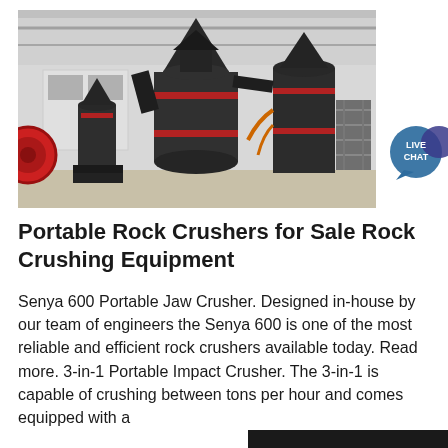[Figure (photo): Industrial rock crushing machinery equipment displayed in a factory/warehouse setting. Several large dark grey grinding mills and crushers with red accents are visible on the factory floor.]
Portable Rock Crushers for Sale Rock Crushing Equipment
Senya 600 Portable Jaw Crusher. Designed in-house by our team of engineers the Senya 600 is one of the most reliable and efficient rock crushers available today. Read more. 3-in-1 Portable Impact Crusher. The 3-in-1 is capable of crushing between tons per hour and comes equipped with a